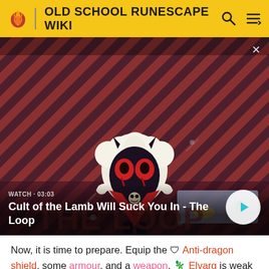OLD SCHOOL RUNESCAPE WIKI
[Figure (screenshot): Video thumbnail for 'Cult of the Lamb Will Suck You In - The Loop' showing a cartoon lamb character on a red-and-dark striped background with WATCH • 03:03 label and a play button]
Now, it is time to prepare. Equip the 🛡 Anti-dragon shield, some armour, and a weapon. 🦎 Elvarg is weak against stab attacks, so consider bringing a sword or dagger instead of a scimitar. Adamant or better is recommended